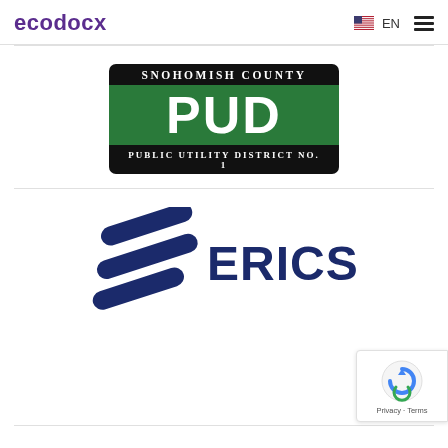ecodocx  EN ☰
[Figure (logo): Snohomish County PUD Public Utility District No. 1 logo. Black top bar with 'Snohomish County', large green center with 'PUD', black bottom bar with 'Public Utility District No. 1'.]
[Figure (logo): Ericsson logo. Three stacked blue curved stripes (the Ericsson symbol) to the left, with 'ERICSSON' in large dark navy bold text to the right.]
[Figure (other): Google reCAPTCHA badge in bottom-right corner showing reCAPTCHA logo and 'Privacy - Terms' text.]